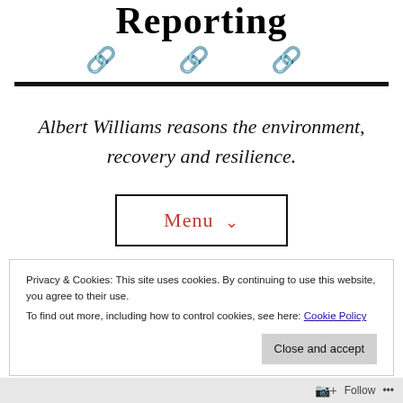Reporting
[Figure (illustration): Three chain link emoji icons arranged horizontally]
Albert Williams reasons the environment, recovery and resilience.
Menu ∨
Privacy & Cookies: This site uses cookies. By continuing to use this website, you agree to their use.
To find out more, including how to control cookies, see here: Cookie Policy
Close and accept
Follow ...